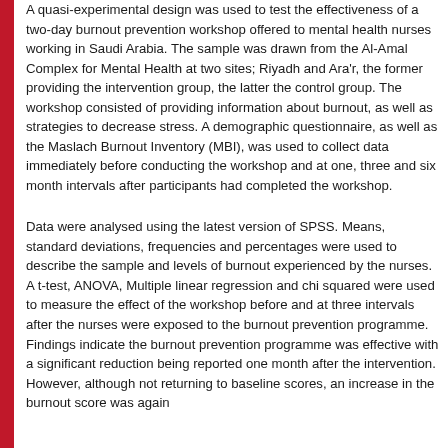A quasi-experimental design was used to test the effectiveness of a two-day burnout prevention workshop offered to mental health nurses working in Saudi Arabia. The sample was drawn from the Al-Amal Complex for Mental Health at two sites; Riyadh and Ara'r, the former providing the intervention group, the latter the control group. The workshop consisted of providing information about burnout, as well as strategies to decrease stress. A demographic questionnaire, as well as the Maslach Burnout Inventory (MBI), was used to collect data immediately before conducting the workshop and at one, three and six month intervals after participants had completed the workshop.
Data were analysed using the latest version of SPSS. Means, standard deviations, frequencies and percentages were used to describe the sample and levels of burnout experienced by the nurses. A t-test, ANOVA, Multiple linear regression and chi squared were used to measure the effect of the workshop before and at three intervals after the nurses were exposed to the burnout prevention programme. Findings indicate the burnout prevention programme was effective with a significant reduction being reported one month after the intervention. However, although not returning to baseline scores, an increase in the burnout score was again